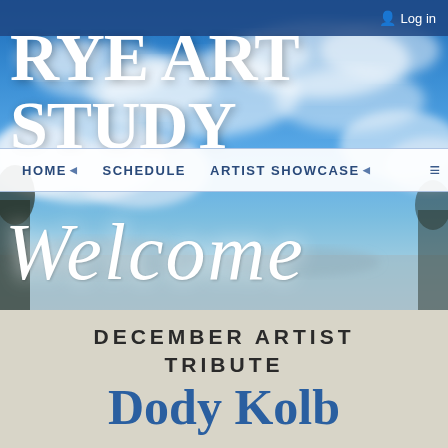Log in
RYE ART STUDY
HOME · SCHEDULE · ARTIST SHOWCASE
[Figure (illustration): Sky with clouds background image behind 'Welcome' italic script text in white]
DECEMBER ARTIST TRIBUTE
Dody Kolb